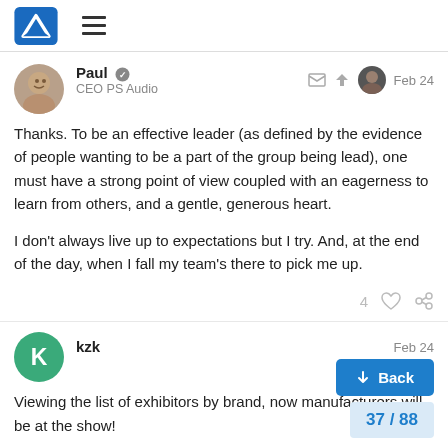PS Audio forum header with logo and hamburger menu
Paul · CEO PS Audio · Feb 24
Thanks. To be an effective leader (as defined by the evidence of people wanting to be a part of the group being lead), one must have a strong point of view coupled with an eagerness to learn from others, and a gentle, generous heart.

I don't always live up to expectations but I try. And, at the end of the day, when I fall my team's there to pick me up.
4 ♡ 🔗
kzk · Feb 24
Viewing the list of exhibitors by brand, now manufacturers will be at the show!